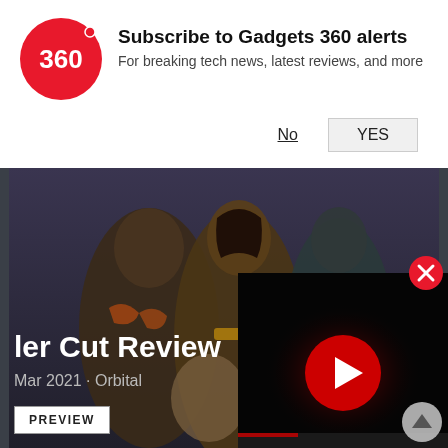[Figure (logo): Gadgets 360 red circle logo with '360' text in white]
Subscribe to Gadgets 360 alerts
For breaking tech news, latest reviews, and more
No
YES
[Figure (photo): Movie scene showing superhero characters including Wonder Woman, Aquaman, and Cyborg in dark battle setting with QR code badge in corner]
ler Cut Review
OneP
Mar 2021 · Orbital
PREVIEW
[Figure (screenshot): Video player overlay showing YouTube play button on dark background with close button]
[Figure (other): Scroll up arrow button]